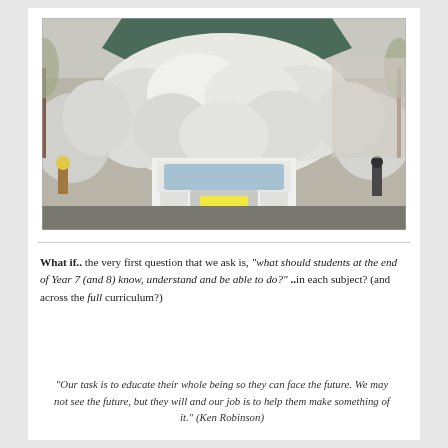[Figure (photo): A heavily overloaded small white truck on a road, carrying an enormous pile of large white sacks or bags stacked far above the cab, with people and trees visible in the background.]
What if.. the very first question that we ask is, "what should students at the end of Year 7 (and 8) know, understand and be able to do?" ..in each subject? (and across the full curriculum?)
"Our task is to educate their whole being so they can face the future. We may not see the future, but they will and our job is to help them make something of it." (Ken Robinson)